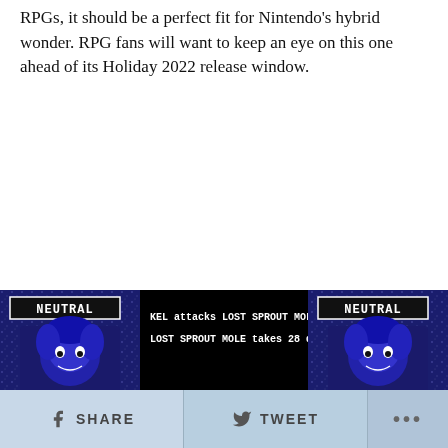RPGs, it should be a perfect fit for Nintendo's hybrid wonder. RPG fans will want to keep an eye on this one ahead of its Holiday 2022 release window.
[Figure (screenshot): Pixel art RPG game screenshot showing two 'NEUTRAL' character cards flanking a battle text box that reads 'KEL attacks LOST SPROUT MOLE! LOST SPROUT MOLE takes 28 damage!']
SHARE   TWEET   ...